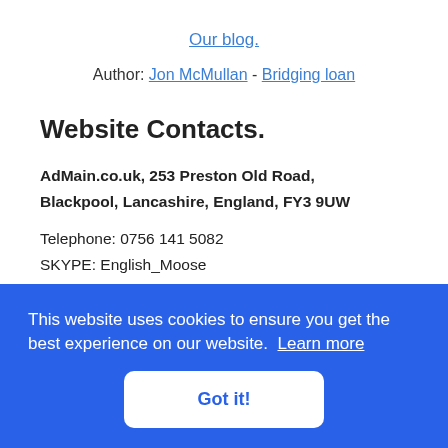Our blog.
Author: Jon McMullan - Bridging loan
Website Contacts.
AdMain.co.uk, 253 Preston Old Road,
Blackpool, Lancashire, England, FY3 9UW
Telephone: 0756 141 5082
SKYPE: English_Moose
Jon@AdMain.co.uk
This website uses cookies to ensure you get the best experience on our website. Learn more
Got it!